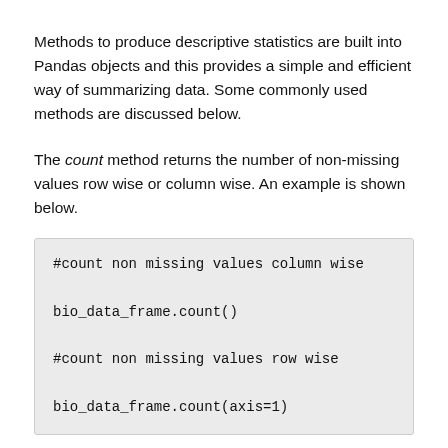Methods to produce descriptive statistics are built into Pandas objects and this provides a simple and efficient way of summarizing data. Some commonly used methods are discussed below.
The count method returns the number of non-missing values row wise or column wise. An example is shown below.
#count non missing values column wise

bio_data_frame.count()

#count non missing values row wise

bio_data_frame.count(axis=1)